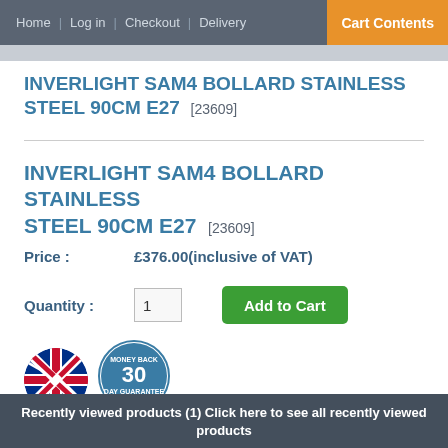Home | Log in | Checkout | Delivery | Cart Contents
INVERLIGHT SAM4 BOLLARD STAINLESS STEEL 90CM E27 [23609]
INVERLIGHT SAM4 BOLLARD STAINLESS STEEL 90CM E27 [23609]
Price : £376.00(inclusive of VAT)
Quantity : 1 Add to Cart
[Figure (logo): UK flag circular badge and Money Back guarantee circular badge]
Recently viewed products (1) Click here to see all recently viewed products